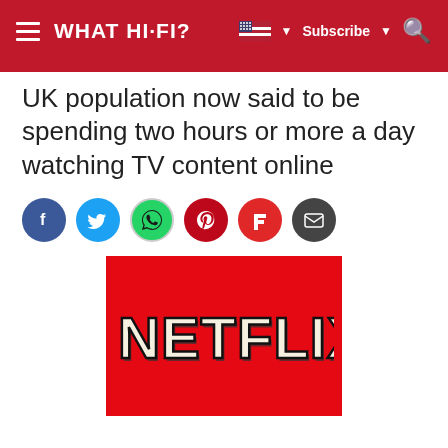WHAT HI-FI?
UK population now said to be spending two hours or more a day watching TV content online
[Figure (logo): Netflix logo on red background]